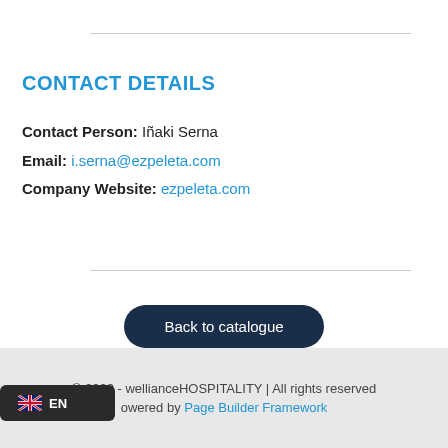CONTACT DETAILS
Contact Person: Iñaki Serna
Email: i.serna@ezpeleta.com
Company Website: ezpeleta.com
Back to catalogue
© 2022 - wellianceHOSPITALITY | All rights reserved
Powered by Page Builder Framework
EN